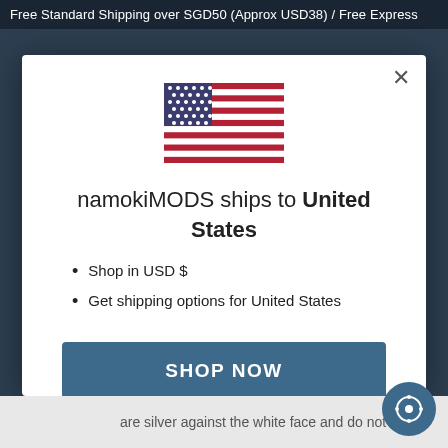Free Standard Shipping over SGD50 (Approx USD38) / Free Express
[Figure (illustration): US flag SVG illustration]
namokiMODS ships to United States
Shop in USD $
Get shipping options for United States
SHOP NOW
CHANGE SHIPPING COUNTRY
are silver against the white face and do not